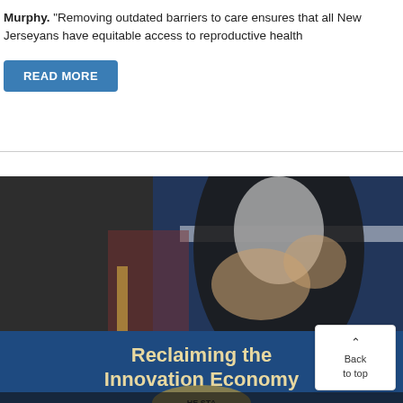Murphy. "Removing outdated barriers to care ensures that all New Jerseyans have equitable access to reproductive health
READ MORE
[Figure (photo): A person speaking at a podium with a sign reading 'Reclaiming the Innovation Economy', with an American flag in the background.]
Back to top